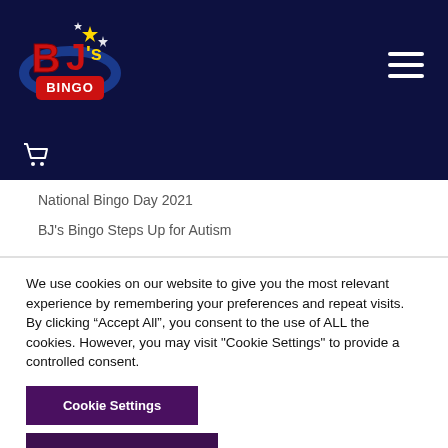[Figure (logo): BJ's Bingo logo — stylized red and gold letters BJ's with stars and a blue arc, with BINGO in a red badge below, on a dark navy background]
National Bingo Day 2021
BJ's Bingo Steps Up for Autism
We use cookies on our website to give you the most relevant experience by remembering your preferences and repeat visits. By clicking “Accept All”, you consent to the use of ALL the cookies. However, you may visit "Cookie Settings" to provide a controlled consent.
Cookie Settings
Accept All